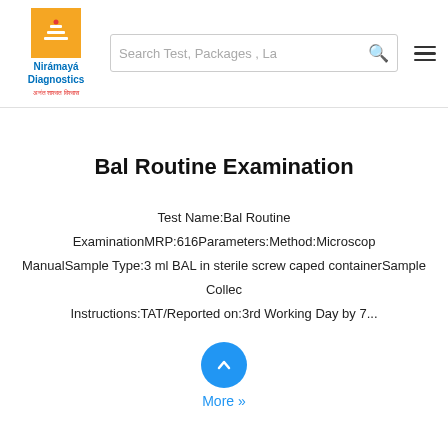Nirámayá Diagnostics — Search Test, Packages, La…
Bal Routine Examination
Test Name:Bal Routine ExaminationMRP:616Parameters:Method:Microscopy ManualSample Type:3 ml BAL in sterile screw caped containerSample Collection Instructions:TAT/Reported on:3rd Working Day by 7...
More »